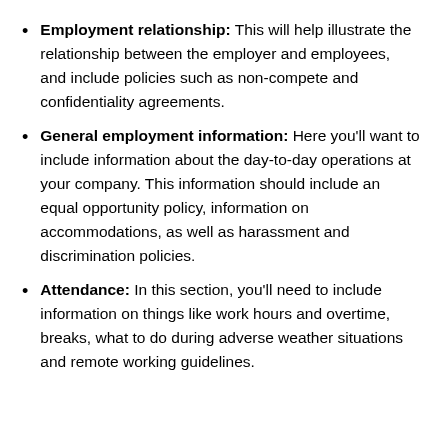Employment relationship: This will help illustrate the relationship between the employer and employees, and include policies such as non-compete and confidentiality agreements.
General employment information: Here you'll want to include information about the day-to-day operations at your company. This information should include an equal opportunity policy, information on accommodations, as well as harassment and discrimination policies.
Attendance: In this section, you'll need to include information on things like work hours and overtime, breaks, what to do during adverse weather situations and remote working guidelines.